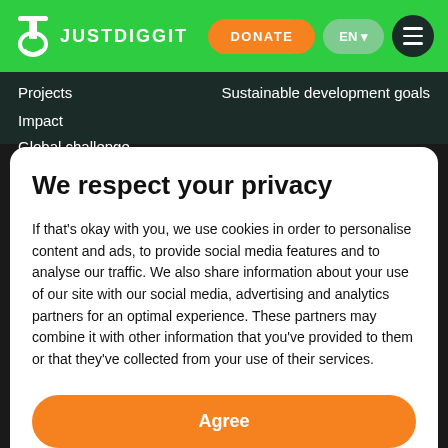JUSTDIGGIT | DONATE | EN | Menu
Projects
Sustainable development goals
Impact
Global challenge
We respect your privacy
If that's okay with you, we use cookies in order to personalise content and ads, to provide social media features and to analyse our traffic. We also share information about your use of our site with our social media, advertising and analytics partners for an optimal experience. These partners may combine it with other information that you've provided to them or that they've collected from your use of their services.
Agree
No, thanks